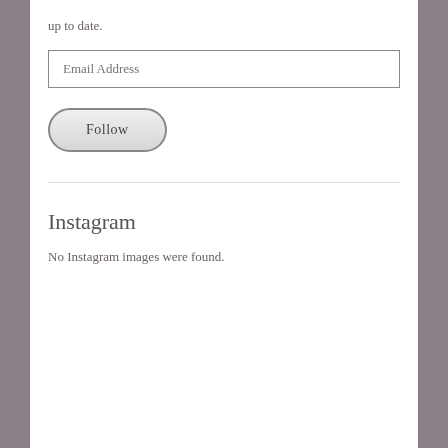up to date.
[Figure (other): Email Address input field]
[Figure (other): Follow button with rounded corners]
Instagram
No Instagram images were found.